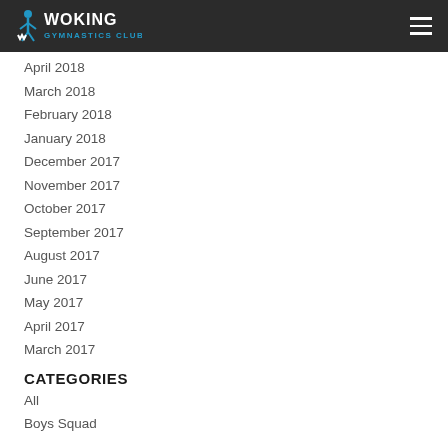Woking Gymnastics Club
April 2018
March 2018
February 2018
January 2018
December 2017
November 2017
October 2017
September 2017
August 2017
June 2017
May 2017
April 2017
March 2017
CATEGORIES
All
Boys Squad